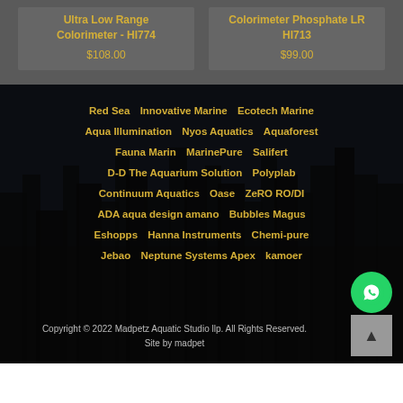Ultra Low Range Colorimeter - HI774
$108.00
Colorimeter Phosphate LR HI713
$99.00
Red Sea  Innovative Marine  Ecotech Marine
Aqua Illumination  Nyos Aquatics  Aquaforest
Fauna Marin  MarinePure  Salifert
D-D The Aquarium Solution  Polyplab
Continuum Aquatics  Oase  ZeRO RO/DI
ADA aqua design amano  Bubbles Magus
Eshopps  Hanna Instruments  Chemi-pure
Jebao  Neptune Systems Apex  kamoer
Copyright © 2022 Madpetz Aquatic Studio llp. All Rights Reserved.
Site by madpet